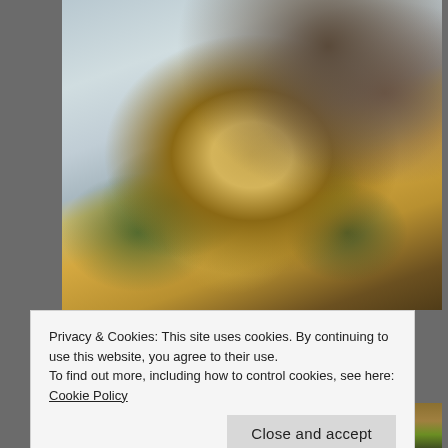[Figure (photo): A foil tray containing a baked casserole dish with breadcrumb topping, green herbs, and mushrooms, with a wooden utensil visible. A second food photo is partially visible at the bottom of the page.]
Privacy & Cookies: This site uses cookies. By continuing to use this website, you agree to their use.
To find out more, including how to control cookies, see here: Cookie Policy
Close and accept